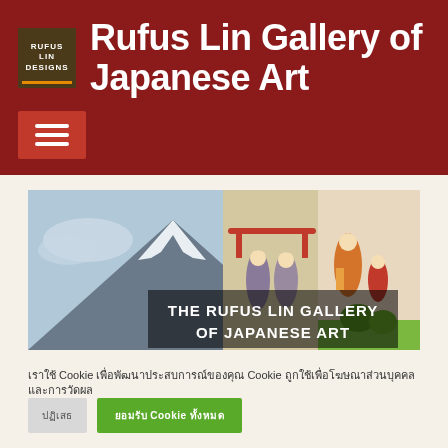Rufus Lin Gallery of Japanese Art
[Figure (screenshot): Website banner with Japanese art images: Mount Fuji painting on left, two geisha figures in center, traditional Japanese painting on right. Overlay text reads 'THE RUFUS LIN GALLERY OF JAPANESE ART'.]
เราใช้ Cookie เพื่อพัฒนาประสบการณ์ของคุณ Cookie ถูกใช้เพื่อโฆษณาส่วนบุคคลและการวัดผล
ปฏิเสธ | ยอมรับ Cookie ทั้งหมด